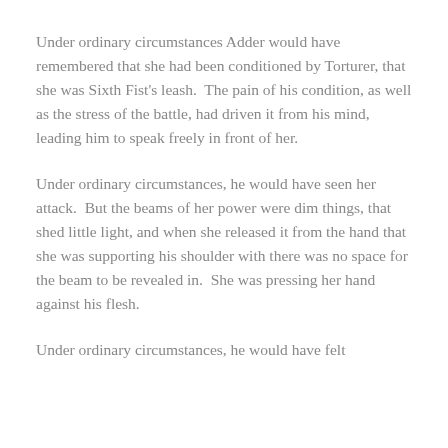Under ordinary circumstances Adder would have remembered that she had been conditioned by Torturer, that she was Sixth Fist's leash.  The pain of his condition, as well as the stress of the battle, had driven it from his mind, leading him to speak freely in front of her.
Under ordinary circumstances, he would have seen her attack.  But the beams of her power were dim things, that shed little light, and when she released it from the hand that she was supporting his shoulder with there was no space for the beam to be revealed in.  She was pressing her hand against his flesh.
Under ordinary circumstances, he would have felt